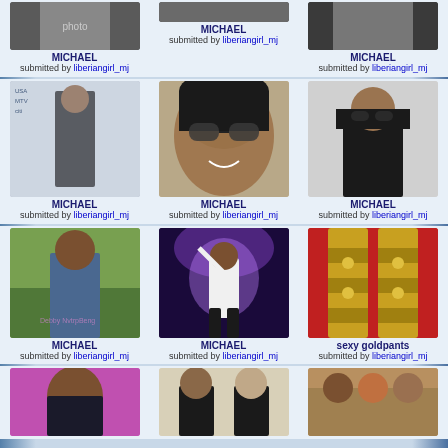[Figure (photo): Grid of Michael Jackson fan photos submitted by liberiangirl_mj on a social/fan site. Row 1 (partial/cropped): three photos with labels MICHAEL submitted by liberiangirl_mj. Row 2: three photos (MJ at awards show, MJ with sunglasses close-up, MJ in black coat with sunglasses). Row 3: three photos (young MJ outdoors, MJ performing on stage in white suit, gold pants close-up). Row 4 (partial/cropped): three photos (MJ singing, MJ with older man in tuxedo, MJ in crowd).]
MICHAEL submitted by liberiangirl_mj
MICHAEL submitted by liberiangirl_mj
MICHAEL submitted by liberiangirl_mj
MICHAEL submitted by liberiangirl_mj
MICHAEL submitted by liberiangirl_mj
MICHAEL submitted by liberiangirl_mj
MICHAEL submitted by liberiangirl_mj
MICHAEL submitted by liberiangirl_mj
sexy goldpants submitted by liberiangirl_mj